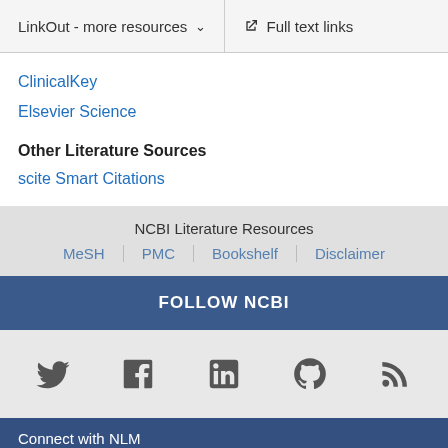LinkOut - more resources   Full text links
ClinicalKey
Elsevier Science
Other Literature Sources
scite Smart Citations
NCBI Literature Resources
MeSH | PMC | Bookshelf | Disclaimer
FOLLOW NCBI
[Figure (infographic): Social media icons: Twitter, Facebook, LinkedIn, GitHub, RSS feed]
Connect with NLM